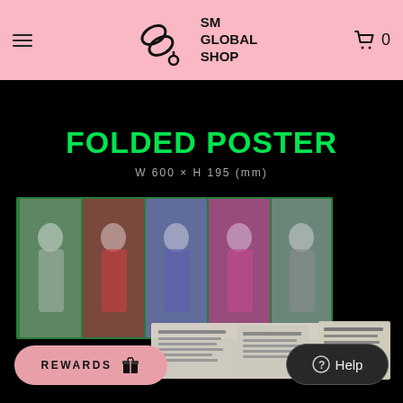[Figure (logo): SM Global Shop logo with stylized S-shaped chain link icon and text 'SM GLOBAL SHOP']
FOLDED POSTER
W 600 × H 195 (mm)
[Figure (photo): Blurred product photo of folded posters showing K-pop group members in colorful outfits on green background, with sticker sheet visible at bottom right labeled 'STICKER']
REWARDS
Help